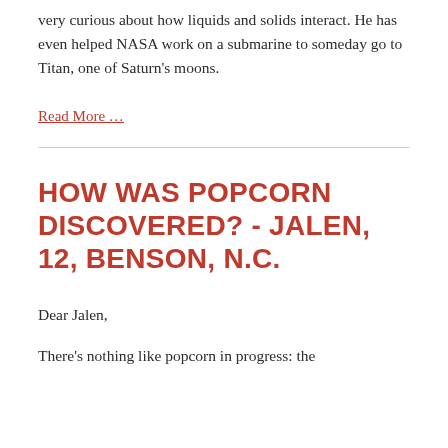very curious about how liquids and solids interact. He has even helped NASA work on a submarine to someday go to Titan, one of Saturn's moons.
Read More …
HOW WAS POPCORN DISCOVERED? - JALEN, 12, BENSON, N.C.
Dear Jalen,
There's nothing like popcorn in progress: the